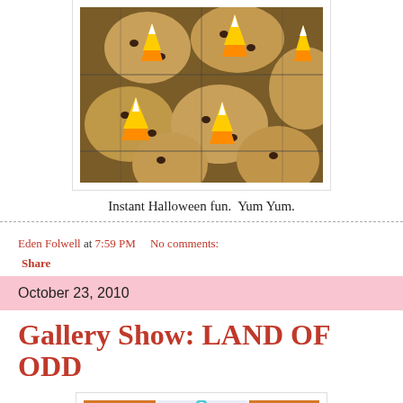[Figure (photo): Cookies with candy corn on a cooling rack, Halloween themed chocolate chip cookies]
Instant Halloween fun. Yum Yum.
Eden Folwell at 7:59 PM    No comments:
Share
October 23, 2010
Gallery Show: LAND OF ODD
[Figure (photo): Colorful sugar skull / Day of the Dead artwork displayed in a gallery setting]